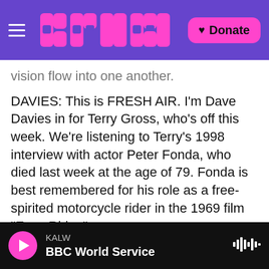KALW / NPR header with logo and Donate button
vision flow into one another.
DAVIES: This is FRESH AIR. I'm Dave Davies in for Terry Gross, who's off this week. We're listening to Terry's 1998 interview with actor Peter Fonda, who died last week at the age of 79. Fonda is best remembered for his role as a free-spirited motorcycle rider in the 1969 film "Easy Rider."
(SOUNDBITE OF ARCHIVED NPR BROADCAST)
GROSS: You say in your book that as soon as you had your motorcycle and your leathers, you started
KALW | BBC World Service